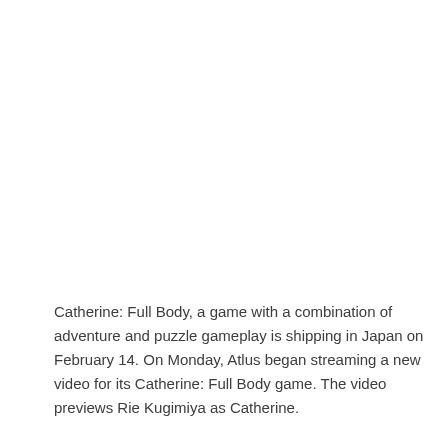Catherine: Full Body, a game with a combination of adventure and puzzle gameplay is shipping in Japan on February 14. On Monday, Atlus began streaming a new video for its Catherine: Full Body game. The video previews Rie Kugimiya as Catherine.